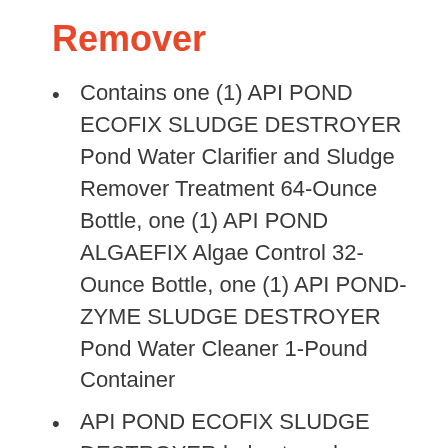Remover
Contains one (1) API POND ECOFIX SLUDGE DESTROYER Pond Water Clarifier and Sludge Remover Treatment 64-Ounce Bottle, one (1) API POND ALGAEFIX Algae Control 32-Ounce Bottle, one (1) API POND-ZYME SLUDGE DESTROYER Pond Water Cleaner 1-Pound Container
API POND ECOFIX SLUDGE DESTROYER helps to reduce overall pond maintenance and